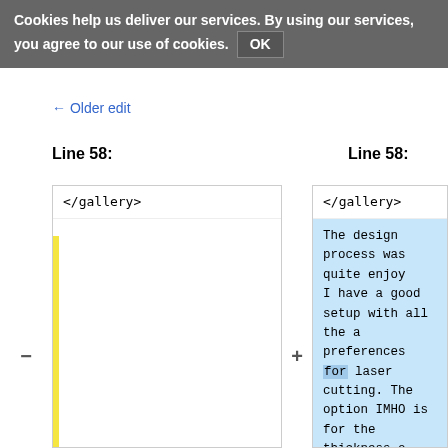Cookies help us deliver our services. By using our services, you agree to our use of cookies. OK
← Older edit
Line 58:    Line 58:
</gallery>    </gallery>
The design process was quite enjoy I have a good setup with all the a preferences for laser cutting. The option IMHO is for the thickness o outlines to be ignored in the size The outlines are only there to all them and their thickness is irrele design. The fancy shapes are easil performing operations on paths. A available online at http://tavmjong.free.fr/INKSCAPE/M Combining.html